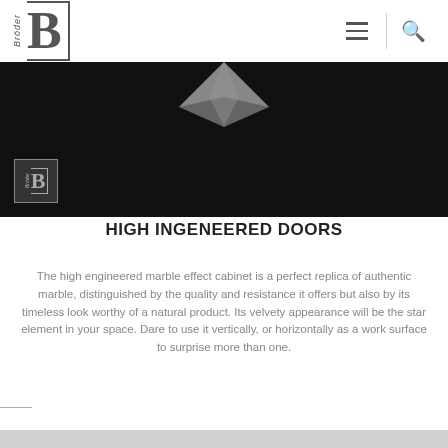[Figure (logo): Bröder brand logo with stylized B letter in a partial border, in gray]
[Figure (photo): Dark background product image with marble effect panel and Bröder logo badge]
HIGH INGENEERED DOORS
The high engineered marble effect cabinet is a perfect replica of authentic marble, distinguished by the quality and resistance it offers but also by its timeless look worthy of a natural product. Its velvety appearance will be the star element in your space. Dare to use it vertically, or horizontally as a work surface to surprise more than one.